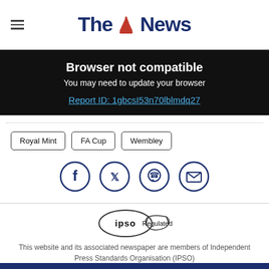The News
Browser not compatible
You may need to update your browser
Report ID: 1gbcsI53n70lblmdq27
Royal Mint
FA Cup
Wembley
[Figure (infographic): Social sharing icons: Facebook, Twitter, WhatsApp, Email — each in a dark navy circle outline]
[Figure (logo): IPSO Regulated badge — oval shape with IPSO text and Regulated label on a ribbon/banner]
This website and its associated newspaper are members of Independent Press Standards Organisation (IPSO)